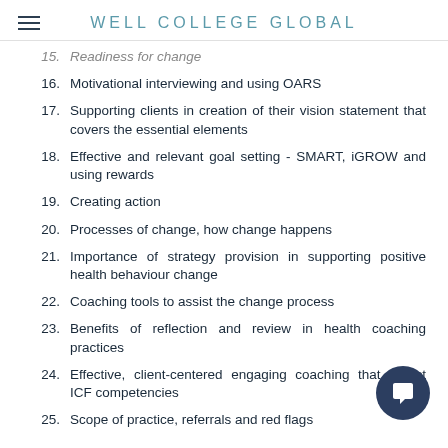WELL COLLEGE GLOBAL
15. Readiness for change
16. Motivational interviewing and using OARS
17. Supporting clients in creation of their vision statement that covers the essential elements
18. Effective and relevant goal setting - SMART, iGROW and using rewards
19. Creating action
20. Processes of change, how change happens
21. Importance of strategy provision in supporting positive health behaviour change
22. Coaching tools to assist the change process
23. Benefits of reflection and review in health coaching practices
24. Effective, client-centered engaging coaching that reflect ICF competencies
25. Scope of practice, referrals and red flags